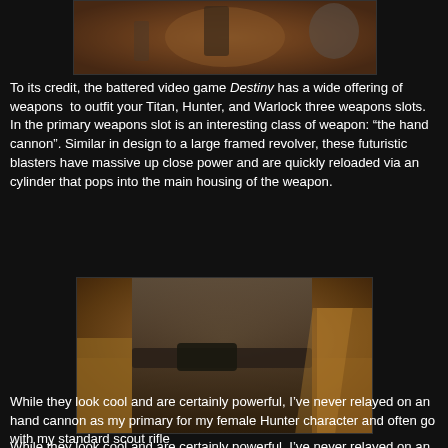[Figure (photo): Video game screenshot from Destiny showing a warrior character with weapon raised in an amber/brown atmospheric scene]
To its credit, the battered video game Destiny has a wide offering of weapons  to outfit your Titan, Hunter, and Warlock three weapons slots. In the primary weapons slot is an interesting class of weapon: “the hand cannon”. Similar in design to a large framed revolver, these futuristic blasters have massive up close power and are quickly reloaded via an cylinder that pops into the main housing of the weapon.
[Figure (photo): Video game screenshot from Destiny showing a close-up of a character's torso with a holstered hand cannon visible on their belt, against a desert-like background]
While they look cool and are certainly powerful, I’ve never relayed on an hand cannon as my primary for my female Hunter character and often go with my standard scout rifle